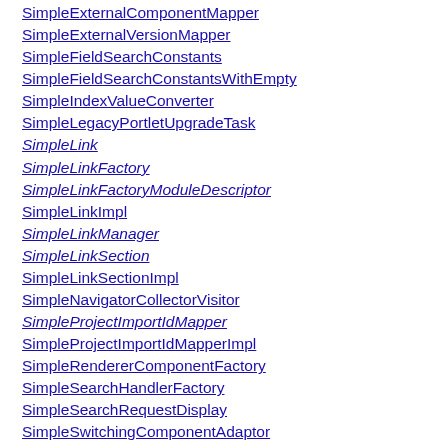SimpleExternalComponentMapper
SimpleExternalVersionMapper
SimpleFieldSearchConstants
SimpleFieldSearchConstantsWithEmpty
SimpleIndexValueConverter
SimpleLegacyPortletUpgradeTask
SimpleLink
SimpleLinkFactory
SimpleLinkFactoryModuleDescriptor
SimpleLinkImpl
SimpleLinkManager
SimpleLinkSection
SimpleLinkSectionImpl
SimpleNavigatorCollectorVisitor
SimpleProjectImportIdMapper
SimpleProjectImportIdMapperImpl
SimpleRendererComponentFactory
SimpleSearchHandlerFactory
SimpleSearchRequestDisplay
SimpleSwitchingComponentAdaptor
SimpleTimeEstimateConverter
SimpleToCronTriggerConverter
SimpleToCronUtil
SimpleTriggerCheck
SimpleTrustedApplication